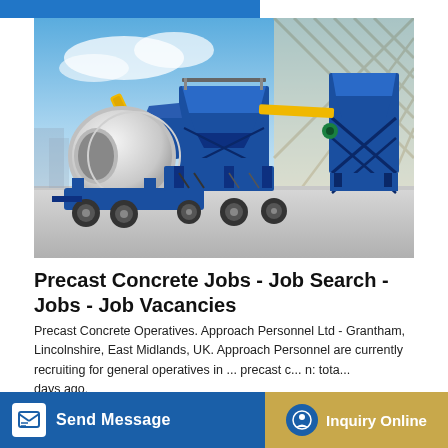[Figure (photo): A blue mobile concrete batching plant with a yellow conveyor belt and a large white mixer drum, mounted on a wheeled trailer, with a blue steel tower structure on the right. Background shows a modern architectural interior.]
Precast Concrete Jobs - Job Search - Jobs - Job Vacancies
Precast Concrete Operatives. Approach Personnel Ltd - Grantham, Lincolnshire, East Midlands, UK. Approach Personnel are currently recruiting for general operatives in ... precast c... n: total ... days ago.
Send Message
Inquiry Online